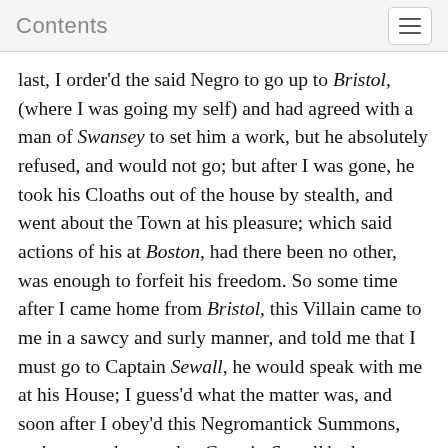Contents
last, I order'd the said Negro to go up to Bristol, (where I was going my self) and had agreed with a man of Swansey to set him a work, but he absolutely refused, and would not go; but after I was gone, he took his Cloaths out of the house by stealth, and went about the Town at his pleasure; which said actions of his at Boston, had there been no other, was enough to forfeit his freedom. So some time after I came home from Bristol, this Villain came to me in a sawcy and surly manner, and told me that I must go to Captain Sewall, he would speak with me at his House; I guess'd what the matter was, and soon after I obey'd this Negromantick Summons, and went to know what Captain Sewall had to say to me (where was Mr. Isaac Addington) who falling into a discourse about the said Negro, he produced a Writing he said I had given the Negro under my Hand for his Freedom, I pray'd Captain Sewall to let me see it;